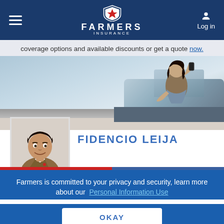Farmers Insurance — Log in
coverage options and available discounts or get a quote now.
[Figure (photo): Hero banner showing a woman talking on phone leaning on a car, outdoor background with sky and road]
[Figure (photo): Headshot photo of Fidencio Leija, male agent in business casual attire]
FIDENCIO LEIJA
Auto Insurance Agent in Dickinson, TX
Farmers is committed to your privacy and security, learn more about our Personal Information Use
OKAY